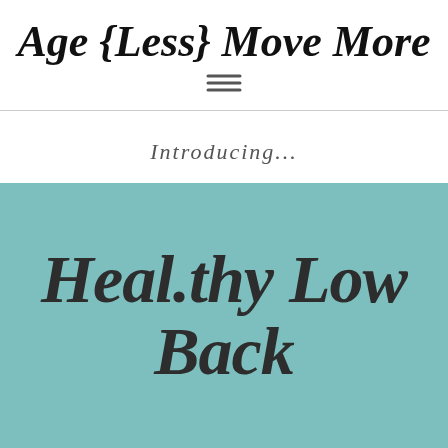Age {Less} Move More
[Figure (other): Hamburger menu icon (three horizontal lines)]
Introducing...
[Figure (illustration): Teal/mint green background image with dark script text reading 'Heal.thy Low Back']